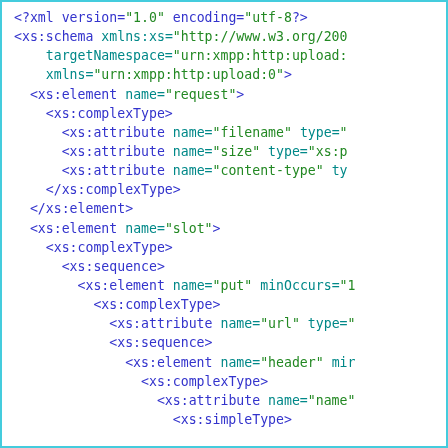[Figure (screenshot): XML/XSD schema code snippet with syntax highlighting showing xs:schema, xs:element, xs:complexType, xs:attribute, xs:sequence elements. Blue text for xs: tags, green text for attribute values in quotes, purple for attribute names.]